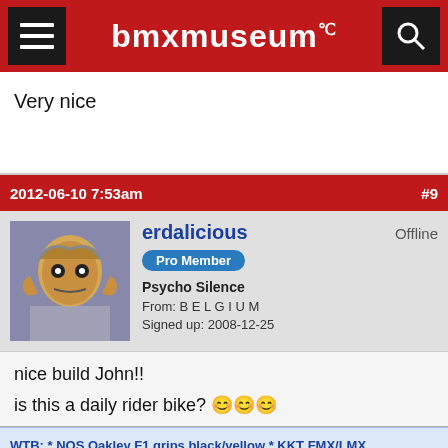bmxmuseum
Very nice
2012-06-10 7:53am  #9
erdalicious
Pro Member
Psycho Silence
From: B E L G I U M
Signed up: 2008-12-25
Offline
nice build John!!

is this a daily rider bike? 😊😊😊
WTB: * NOS Oakley F1 grips black/yellow * KKT FMX/LMX Pedals * Skyway Tuff Graphite pedals/cages * NOS Oakley 2 red right side only * NOS Oakley 1 red left side only * NOS chrome KKT FMX left side pedal 9/16